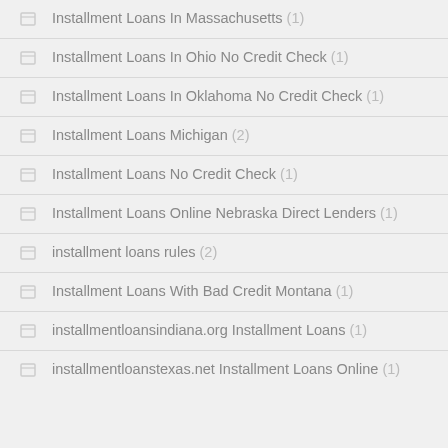Installment Loans In Massachusetts (1)
Installment Loans In Ohio No Credit Check (1)
Installment Loans In Oklahoma No Credit Check (1)
Installment Loans Michigan (2)
Installment Loans No Credit Check (1)
Installment Loans Online Nebraska Direct Lenders (1)
installment loans rules (2)
Installment Loans With Bad Credit Montana (1)
installmentloansindiana.org Installment Loans (1)
installmentloanstexas.net Installment Loans Online (1)